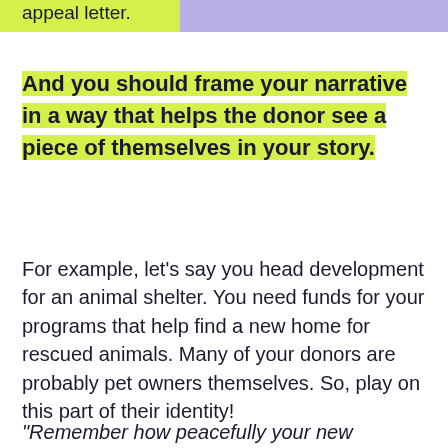one person's life in your nonprofit's appeal letter.
And you should frame your narrative in a way that helps the donor see a piece of themselves in your story.
For example, let's say you head development for an animal shelter. You need funds for your programs that help find a new home for rescued animals. Many of your donors are probably pet owners themselves. So, play on this part of their identity!
“Remember how peacefully your new